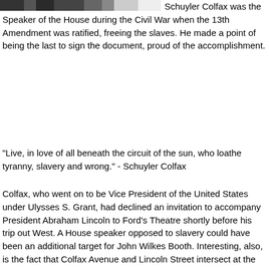[Figure (photo): Black and white photograph cropped at top of page]
Schuyler Colfax was the Speaker of the House during the Civil War when the 13th Amendment was ratified, freeing the slaves. He made a point of being the last to sign the document, proud of the accomplishment.
"Live, in love of all beneath the circuit of the sun, who loathe tyranny, slavery and wrong." - Schuyler Colfax
Colfax, who went on to be Vice President of the United States under Ulysses S. Grant, had declined an invitation to accompany President Abraham Lincoln to Ford's Theatre shortly before his trip out West. A House speaker opposed to slavery could have been an additional target for John Wilkes Booth. Interesting, also, is the fact that Colfax Avenue and Lincoln Street intersect at the Northwest corner of the Colorado State Capitol Building.
As an interesting side note, Dr. Gerald Biliss, who lived at 1389 Stuart Street close to West Colfax Avenue, was a Civil War veteran and a member of the honor guard over President Lincoln's casket.